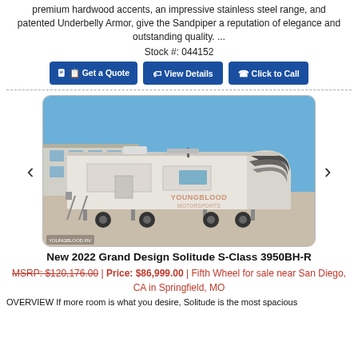premium hardwood accents, an impressive stainless steel range, and patented Underbelly Armor, give the Sandpiper a reputation of elegance and outstanding quality. ...
Stock #: 044152
Get a Quote | View Details | Click to Call
[Figure (photo): Photo of a 2022 Grand Design Solitude S-Class 3950BH-R fifth wheel RV parked in a dealership lot under blue sky. The RV has a distinctive black and white swirl graphic design on its front cap. A YOUNGBLOOD watermark is visible on the image.]
New 2022 Grand Design Solitude S-Class 3950BH-R
MSRP: $120,176.00 | Price: $86,999.00 | Fifth Wheel for sale near San Diego, CA in Springfield, MO
OVERVIEW If more room is what you desire, Solitude is the most spacious